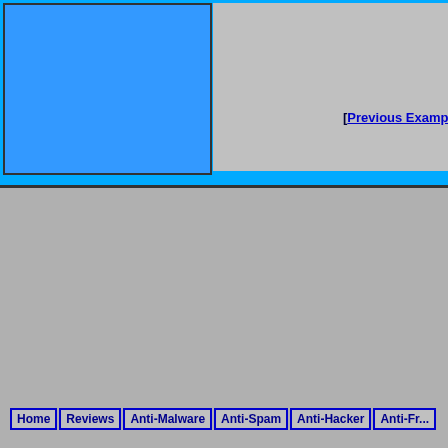[Figure (screenshot): Blue rectangle placeholder image in top-left area]
[Previous Example]
Home | Reviews | Anti-Malware | Anti-Spam | Anti-Hacker | Anti-Fr...
Report Cyber Crim...
Privacy Poli...
Copyright © 2006-20...
[Figure (logo): Star/approval logo with text 'sabo...']